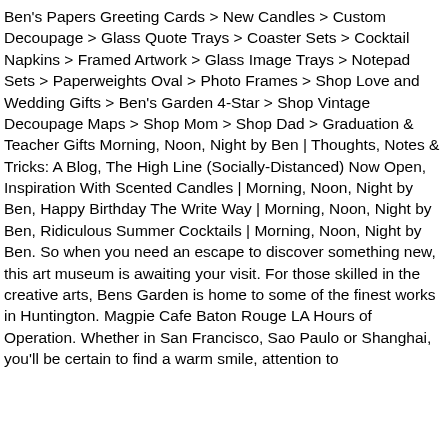Ben's Papers Greeting Cards > New Candles > Custom Decoupage > Glass Quote Trays > Coaster Sets > Cocktail Napkins > Framed Artwork > Glass Image Trays > Notepad Sets > Paperweights Oval > Photo Frames > Shop Love and Wedding Gifts > Ben's Garden 4-Star > Shop Vintage Decoupage Maps > Shop Mom > Shop Dad > Graduation & Teacher Gifts Morning, Noon, Night by Ben | Thoughts, Notes & Tricks: A Blog, The High Line (Socially-Distanced) Now Open, Inspiration With Scented Candles | Morning, Noon, Night by Ben, Happy Birthday The Write Way | Morning, Noon, Night by Ben, Ridiculous Summer Cocktails | Morning, Noon, Night by Ben. So when you need an escape to discover something new, this art museum is awaiting your visit. For those skilled in the creative arts, Bens Garden is home to some of the finest works in Huntington. Magpie Cafe Baton Rouge LA Hours of Operation. Whether in San Francisco, Sao Paulo or Shanghai, you'll be certain to find a warm smile, attention to